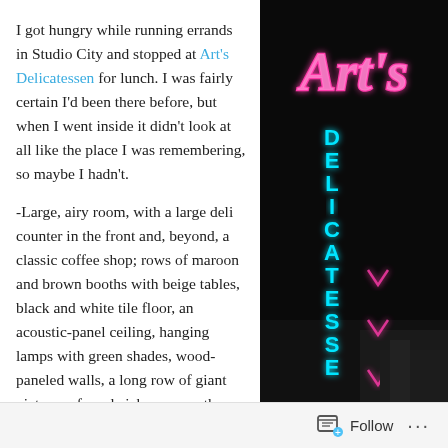I got hungry while running errands in Studio City and stopped at Art's Delicatessen for lunch. I was fairly certain I'd been there before, but when I went inside it didn't look at all like the place I was remembering, so maybe I hadn't.

-Large, airy room, with a large deli counter in the front and, beyond, a classic coffee shop; rows of maroon and brown booths with beige tables, black and white tile floor, an acoustic-panel ceiling, hanging lamps with green shades, wood-paneled walls, a long row of giant pictures of sandwiches across the back wall, plus
[Figure (photo): Neon sign for Art's Delicatessen against a dark background. 'Art's' written in pink/magenta cursive neon at the top, and 'DELICATESSE' in vertical cyan/turquoise neon letters below, with a pink neon arrow/fork shape alongside.]
Follow ...